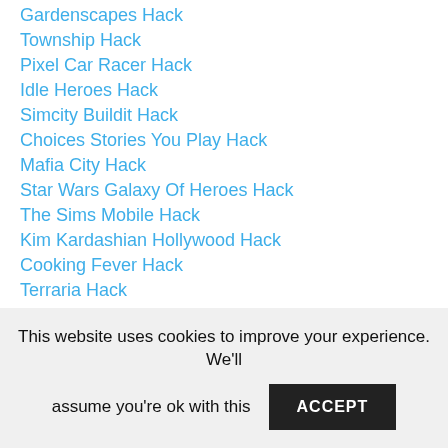Gardenscapes Hack
Township Hack
Pixel Car Racer Hack
Idle Heroes Hack
Simcity Buildit Hack
Choices Stories You Play Hack
Mafia City Hack
Star Wars Galaxy Of Heroes Hack
The Sims Mobile Hack
Kim Kardashian Hollywood Hack
Cooking Fever Hack
Terraria Hack
Summoners War Hack
Toy Blast Hack
Last Shelter Survival Hack
Head Ball 2 Hack
Idle Miner Tycoon Hack
Jetpack Joyride Hack
This website uses cookies to improve your experience. We'll assume you're ok with this
ACCEPT